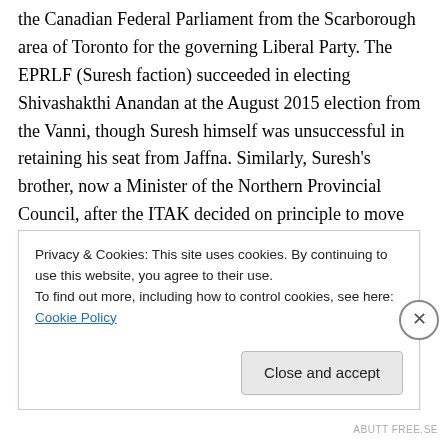the Canadian Federal Parliament from the Scarborough area of Toronto for the governing Liberal Party. The EPRLF (Suresh faction) succeeded in electing Shivashakthi Anandan at the August 2015 election from the Vanni, though Suresh himself was unsuccessful in retaining his seat from Jaffna. Similarly, Suresh's brother, now a Minister of the Northern Provincial Council, after the ITAK decided on principle to move away from the Provincial Administration of Chief Minister Wigneswaren, was barely elected to the Northern PC, coming in one but
Privacy & Cookies: This site uses cookies. By continuing to use this website, you agree to their use. To find out more, including how to control cookies, see here: Cookie Policy
Close and accept